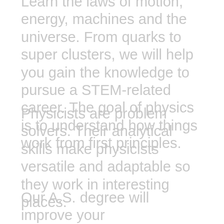Learn the laws of motion, energy, machines and the universe. From quarks to super clusters, we will help you gain the knowledge to pursue a STEM-related career. The goal of physics is to understand how things work from first principles.
Physicists are problem solvers. Their analytical skills make physicists versatile and adaptable so they work in interesting places.
Our A.S. degree will improve your communication, writing, research and critical-thinking skills. Studying physics